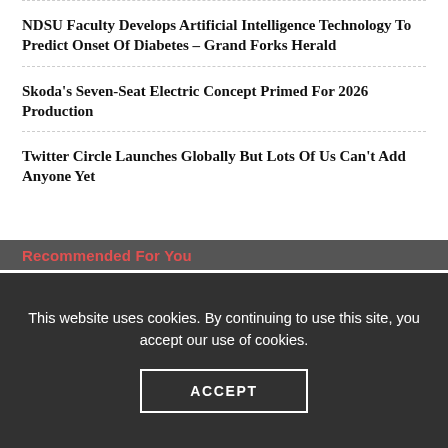NDSU Faculty Develops Artificial Intelligence Technology To Predict Onset Of Diabetes – Grand Forks Herald
Skoda's Seven-Seat Electric Concept Primed For 2026 Production
Twitter Circle Launches Globally But Lots Of Us Can't Add Anyone Yet
Recommended For You
This website uses cookies. By continuing to use this site, you accept our use of cookies.